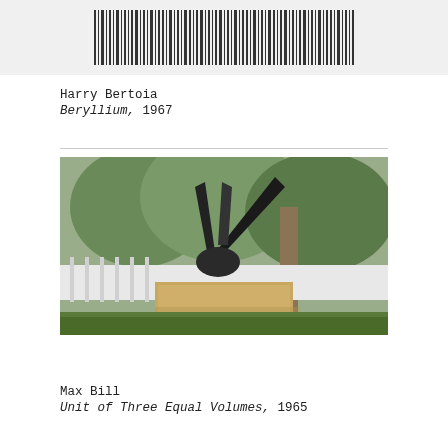[Figure (photo): Barcode or vertical striped pattern image at top of page]
Harry Bertoia
Beryllium, 1967
[Figure (photo): Outdoor sculpture by Harry Bertoia showing dark metal angular forms mounted on a wooden pedestal, with trees and white fence in background]
Max Bill
Unit of Three Equal Volumes, 1965